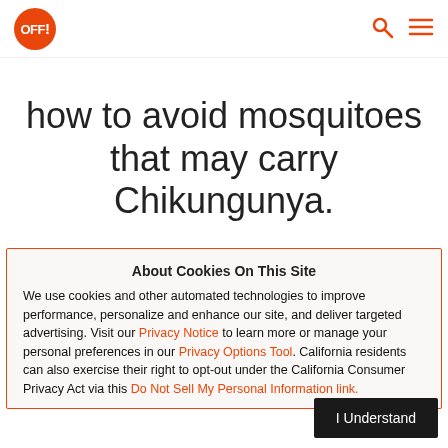OFF! [logo] [search icon] [menu icon]
how to avoid mosquitoes that may carry Chikungunya.
About Cookies On This Site
We use cookies and other automated technologies to improve performance, personalize and enhance our site, and deliver targeted advertising. Visit our Privacy Notice to learn more or manage your personal preferences in our Privacy Options Tool. California residents can also exercise their right to opt-out under the California Consumer Privacy Act via this Do Not Sell My Personal Information link.